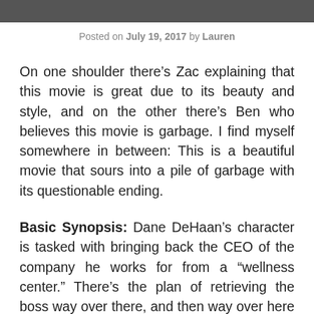[Figure (photo): Dark photo strip at the top of the page, showing a partially visible figure]
Posted on July 19, 2017 by Lauren
On one shoulder there’s Zac explaining that this movie is great due to its beauty and style, and on the other there’s Ben who believes this movie is garbage. I find myself somewhere in between: This is a beautiful movie that sours into a pile of garbage with its questionable ending.
Basic Synopsis: Dane DeHaan’s character is tasked with bringing back the CEO of the company he works for from a “wellness center.” There’s the plan of retrieving the boss way over there, and then way over here there’s something...